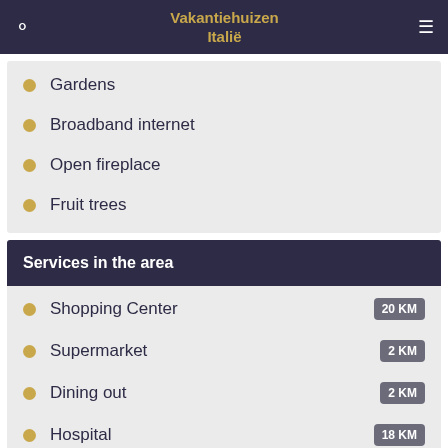Vakantiehuizen Italië
Gardens
Broadband internet
Open fireplace
Fruit trees
Services in the area
Shopping Center 20 KM
Supermarket 2 KM
Dining out 2 KM
Hospital 18 KM
Primary school 2 KM
Airport 94 KM
Train Station 20 KM